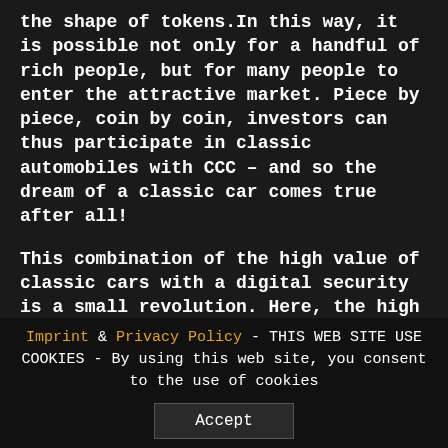the shape of tokens.In this way, it is possible not only for a handful of rich people, but for many people to enter the attractive market. Piece by piece, coin by coin, investors can thus participate in classic automobiles with CCC – and so the dream of a classic car comes true after all!
This combination of the high value of classic cars with a digital security is a small revolution. Here, the high returns of classic cars are combined with the attractiveness of small investment sums. It is possible to start with as little as 250 euros at CCC, a sum that can deliver top performance over the appropriate investment horizon. The investors' valuable vehicles are safely stored and maintained
Imprint & Privacy Policy - THIS WEB SITE USE COOKIES - By using this web site, you consent to the use of cookies